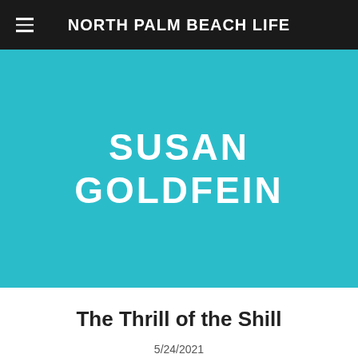NORTH PALM BEACH LIFE
[Figure (other): Teal/turquoise hero banner with author name SUSAN GOLDFEIN in large white bold uppercase text]
The Thrill of the Shill
5/24/2021
0 COMMENTS